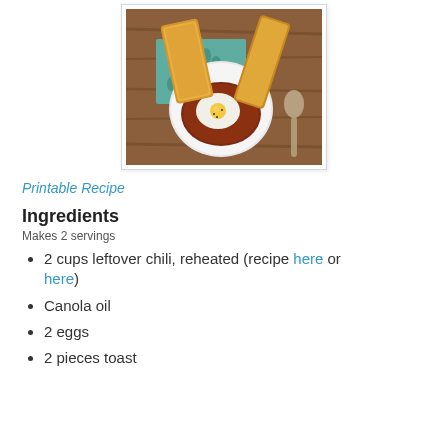[Figure (photo): A white bowl containing chili topped with a fried egg, with two pieces of toast leaning against the sides, on a wooden table with a teal patterned napkin and a spoon nearby.]
Printable Recipe
Ingredients
Makes 2 servings
2 cups leftover chili, reheated (recipe here or here)
Canola oil
2 eggs
2 pieces toast